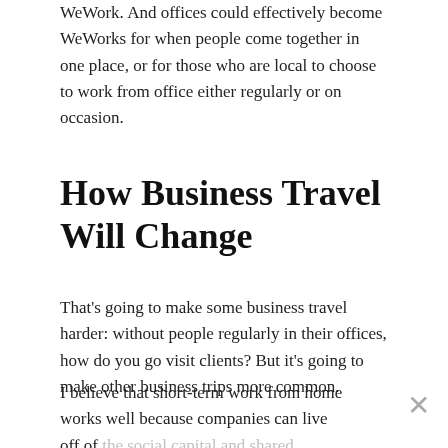WeWork. And offices could effectively become WeWorks for when people come together in one place, or for those who are local to choose to work from office either regularly or on occasion.
How Business Travel Will Change
That's going to make some business travel harder: without people regularly in their offices, how do you go visit clients? But it's going to make other business trips more common.
I believe that short-term work from home works well because companies can live off of the social capital and shared cultures they've built. But how is that maintained over time?